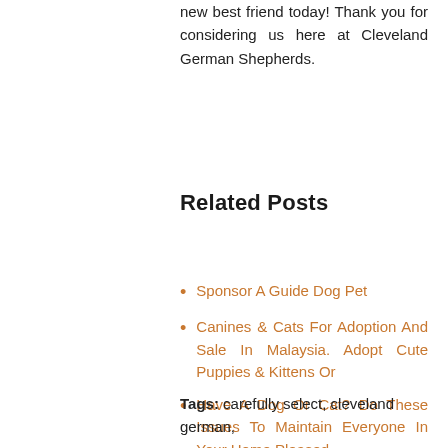new best friend today! Thank you for considering us here at Cleveland German Shepherds.
Related Posts
Sponsor A Guide Dog Pet
Canines & Cats For Adoption And Sale In Malaysia. Adopt Cute Puppies & Kittens Or
Have A Dog Or Cat? Do These Issues To Maintain Everyone In Your Home Pleased
' Family Mourns Dog Shot By Anne Arundel Police
Out there Dogs
Tags: carefully select, cleveland german,